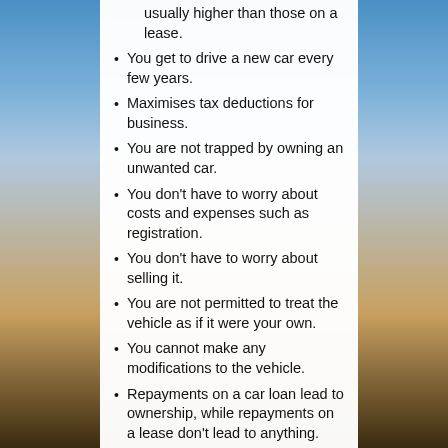usually higher than those on a lease.
You get to drive a new car every few years.
Maximises tax deductions for business.
You are not trapped by owning an unwanted car.
You don't have to worry about costs and expenses such as registration.
You don't have to worry about selling it.
You are not permitted to treat the vehicle as if it were your own.
You cannot make any modifications to the vehicle.
Repayments on a car loan lead to ownership, while repayments on a lease don't lead to anything.
There are many things to consider when looking to buy or lease a vehicle. The choice of which path to